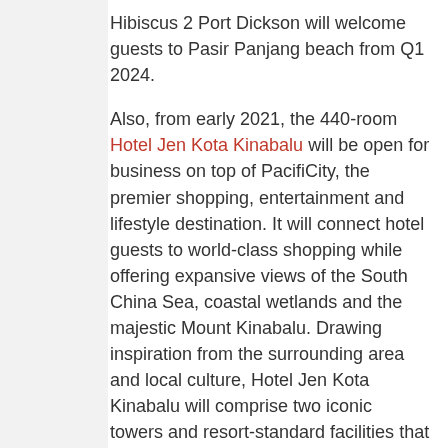Hibiscus 2 Port Dickson will welcome guests to Pasir Panjang beach from Q1 2024.
Also, from early 2021, the 440-room Hotel Jen Kota Kinabalu will be open for business on top of PacifiCity, the premier shopping, entertainment and lifestyle destination. It will connect hotel guests to world-class shopping while offering expansive views of the South China Sea, coastal wetlands and the majestic Mount Kinabalu. Drawing inspiration from the surrounding area and local culture, Hotel Jen Kota Kinabalu will comprise two iconic towers and resort-standard facilities that are shared with the PacifiCity Club.
Lastly, Amari Penang will offer 453 rooms in a tower connected to Setia SPICE, the world's first hybrid solar-powered convention centre. The complex also incorporates a 10,000-seat events arena, an aquatic and sports centre, and a